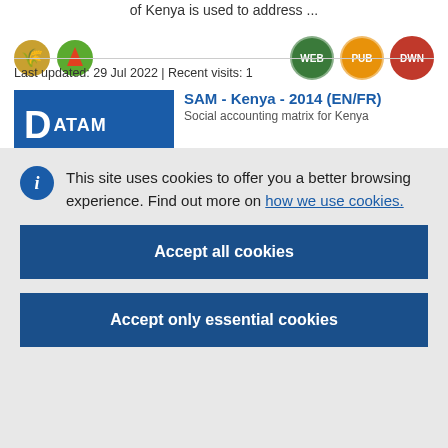of Kenya is used to address ...
[Figure (logo): Two circular icons: a golden wheat icon and a green agriculture icon on the left; WEB (green), PUB (orange), DWN (red) badge circles on the right]
Last updated: 29 Jul 2022 | Recent visits: 1
[Figure (logo): DATAM blue logo block with large D on left]
SAM - Kenya - 2014 (EN/FR)
Social accounting matrix for Kenya
This site uses cookies to offer you a better browsing experience. Find out more on how we use cookies.
Accept all cookies
Accept only essential cookies